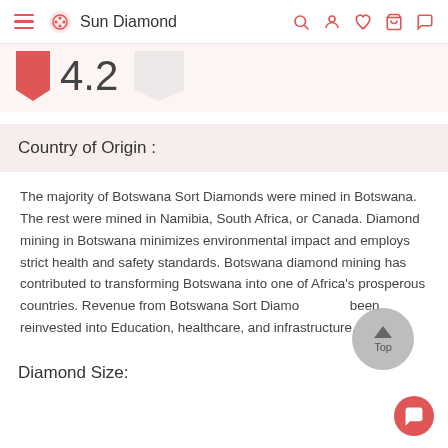Sun Diamond
4.2
Country of Origin :
The majority of Botswana Sort Diamonds were mined in Botswana. The rest were mined in Namibia, South Africa, or Canada. Diamond mining in Botswana minimizes environmental impact and employs strict health and safety standards. Botswana diamond mining has contributed to transforming Botswana into one of Africa's prosperous countries. Revenue from Botswana Sort Diamonds has been reinvested into Education, healthcare, and infrastructure.
Diamond Size: